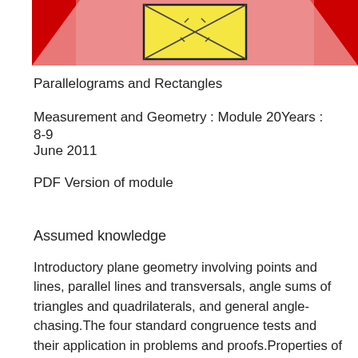[Figure (illustration): Decorative header image showing a yellow rectangle with crossed diagonal lines (X pattern with tick marks) on a pink/red textured background with red triangles in corners]
Parallelograms and Rectangles
Measurement and Geometry : Module 20Years : 8-9
June 2011
PDF Version of module
Assumed knowledge
Introductory plane geometry involving points and lines, parallel lines and transversals, angle sums of triangles and quadrilaterals, and general angle-chasing.The four standard congruence tests and their application in problems and proofs.Properties of isosceles and equilateral triangles and tests for them.Experience with a logical argument in